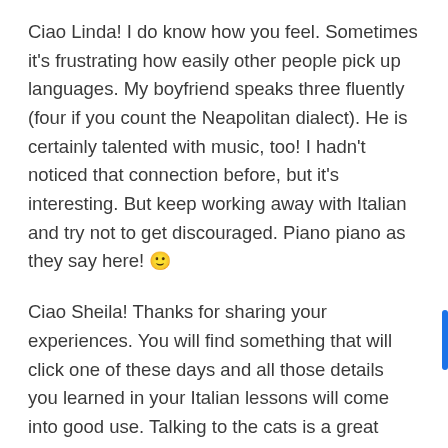Ciao Linda! I do know how you feel. Sometimes it's frustrating how easily other people pick up languages. My boyfriend speaks three fluently (four if you count the Neapolitan dialect). He is certainly talented with music, too! I hadn't noticed that connection before, but it's interesting. But keep working away with Italian and try not to get discouraged. Piano piano as they say here! 🙂
Ciao Sheila! Thanks for sharing your experiences. You will find something that will click one of these days and all those details you learned in your Italian lessons will come into good use. Talking to the cats is a great idea! I do that all the time. At first it felt weird, but now it feels natural. They don't seem to care if I mispronounce things or